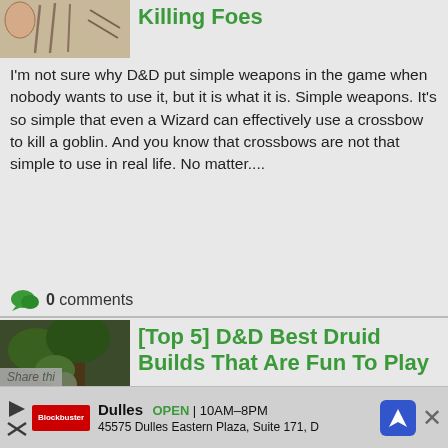Killing Foes
I'm not sure why D&D put simple weapons in the game when nobody wants to use it, but it is what it is. Simple weapons. It's so simple that even a Wizard can effectively use a crossbow to kill a goblin. And you know that crossbows are not that simple to use in real life. No matter....
0 comments
[Top 5] D&D Best Druid Builds That Are Fun To Play
Secretive yet undeniable, primal magics run wild throughout the landscape, ready to be tapped by those capable of hearing its call. Forgoing metal armor and sprouting healthy far beyond the confines of civilization some of the mightiest adventurers can be borne, just as untamable as the elements...
0 comments
[Top 10] D&D Best
Share thi...
Dulles  OPEN | 10AM-8PM  45575 Dulles Eastern Plaza, Suite 171, D